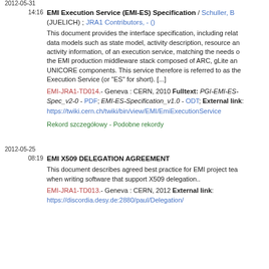2012-05-31
14:16  EMI Execution Service (EMI-ES) Specification / Schuller, B (JUELICH) ; JRA1 Contributors, - ()
This document provides the interface specification, including related data models such as state model, activity description, resource and activity information, of an execution service, matching the needs of the EMI production middleware stack composed of ARC, gLite and UNICORE components. This service therefore is referred to as the Execution Service (or "ES" for short). [...]
EMI-JRA1-TD014.- Geneva : CERN, 2010 Fulltext: PGI-EMI-ES-Spec_v2-0 - PDF; EMI-ES-Specification_v1.0 - ODT; External link: https://twiki.cern.ch/twiki/bin/view/EMI/EmiExecutionService
Rekord szczegółowy - Podobne rekordy
2012-05-25
08:19  EMI X509 DELEGATION AGREEMENT
This document describes agreed best practice for EMI project team when writing software that support X509 delegation..
EMI-JRA1-TD013.- Geneva : CERN, 2012 External link: https://discordia.desy.de:2880/paul/Delegation/